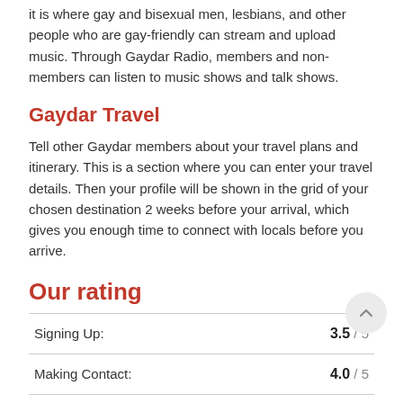it is where gay and bisexual men, lesbians, and other people who are gay-friendly can stream and upload music. Through Gaydar Radio, members and non-members can listen to music shows and talk shows.
Gaydar Travel
Tell other Gaydar members about your travel plans and itinerary. This is a section where you can enter your travel details. Then your profile will be shown in the grid of your chosen destination 2 weeks before your arrival, which gives you enough time to connect with locals before you arrive.
Our rating
|  |  |
| --- | --- |
| Signing Up: | 3.5 / 5 |
| Making Contact: | 4.0 / 5 |